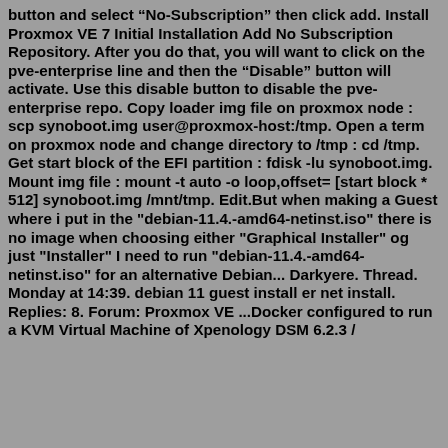button and select "No-Subscription" then click add. Install Proxmox VE 7 Initial Installation Add No Subscription Repository. After you do that, you will want to click on the pve-enterprise line and then the "Disable" button will activate. Use this disable button to disable the pve-enterprise repo. Copy loader img file on proxmox node : scp synoboot.img user@proxmox-host:/tmp. Open a term on proxmox node and change directory to /tmp : cd /tmp. Get start block of the EFI partition : fdisk -lu synoboot.img. Mount img file : mount -t auto -o loop,offset= [start block * 512] synoboot.img /mnt/tmp. Edit.But when making a Guest where i put in the "debian-11.4.-amd64-netinst.iso" there is no image when choosing either "Graphical Installer" og just "Installer" I need to run "debian-11.4.-amd64-netinst.iso" for an alternative Debian... Darkyere. Thread. Monday at 14:39. debian 11 guest install er net install. Replies: 8. Forum: Proxmox VE ...Docker configured to run a KVM Virtual Machine of Xenology DSM 6.2.3 / 7.1.1. Disk management: Xfs partition for /mnt. & ext4